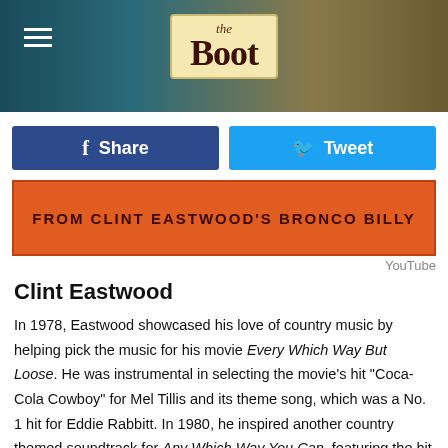[Figure (logo): The Boot website logo on a teal/brown textured header background with hamburger menu icon]
Share | Tweet
[Figure (screenshot): Orange video thumbnail showing text from Clint Eastwood's Bronco Billy]
YouTube
Clint Eastwood
In 1978, Eastwood showcased his love of country music by helping pick the music for his movie Every Which Way But Loose. He was instrumental in selecting the movie's hit "Coca-Cola Cowboy" for Mel Tillis and its theme song, which was a No. 1 hit for Eddie Rabbitt. In 1980, he inspired another country themed soundtrack for Any Which Way You Can, featuring the hit "You're The Reason God Made Oklahoma," recorded by David Frizzell and Shelley West. The biggest surprise came in 1980, when Eastwood actually sang a song